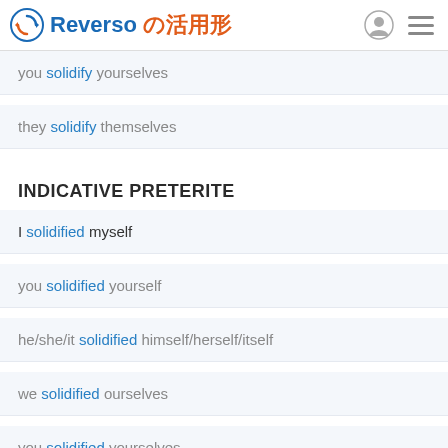Reverso の活用形
you solidify yourselves
they solidify themselves
INDICATIVE PRETERITE
I solidified myself
you solidified yourself
he/she/it solidified himself/herself/itself
we solidified ourselves
you solidified yourselves
they solidified themselves
INDICATIVE PRESENT CONTINUOUS